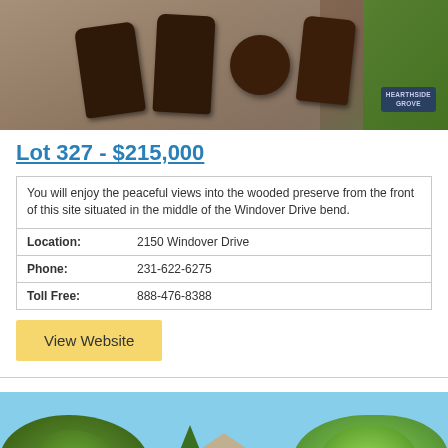[Figure (photo): Outdoor patio with wooden chairs and round table, green grass and a Hearthside Grove logo badge in bottom right corner]
Lot 327 - $215,000
| You will enjoy the peaceful views into the wooded preserve from the front of this site situated in the middle of the Windover Drive bend. |
| Location: | 2150 Windover Drive |
| Phone: | 231-622-6275 |
| Toll Free: | 888-476-8388 |
View Website
[Figure (photo): Exterior photo of a house with a peaked roof gable visible through surrounding trees against a blue sky]